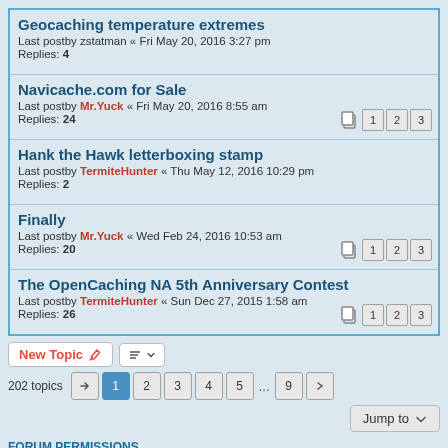Geocaching temperature extremes
Last postby zstatman « Fri May 20, 2016 3:27 pm
Replies: 4
Navicache.com for Sale
Last postby Mr.Yuck « Fri May 20, 2016 8:55 am
Replies: 24
Hank the Hawk letterboxing stamp
Last postby TermiteHunter « Thu May 12, 2016 10:29 pm
Replies: 2
Finally
Last postby Mr.Yuck « Wed Feb 24, 2016 10:53 am
Replies: 20
The OpenCaching NA 5th Anniversary Contest
Last postby TermiteHunter « Sun Dec 27, 2015 1:58 am
Replies: 26
202 topics  1 2 3 4 5 ... 9
FORUM PERMISSIONS
You cannot post new topics in this forum